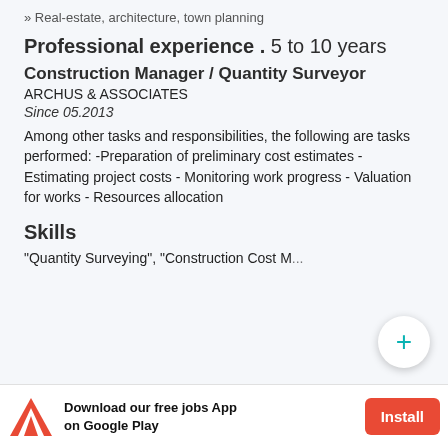» Real-estate, architecture, town planning
Professional experience . 5 to 10 years
Construction Manager / Quantity Surveyor
ARCHUS & ASSOCIATES
Since 05.2013
Among other tasks and responsibilities, the following are tasks performed: -Preparation of preliminary cost estimates - Estimating project costs - Monitoring work progress - Valuation for works - Resources allocation
Skills
"Quantity Surveying", "Construction Cost Management", "Contract...
Download our free jobs App on Google Play  Install